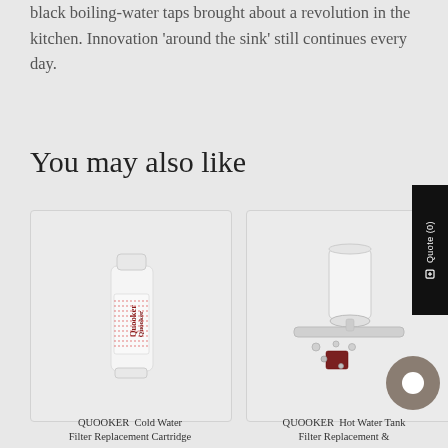black boiling-water taps brought about a revolution in the kitchen. Innovation 'around the sink' still continues every day.
You may also like
[Figure (photo): QUOOKER Cold Water Filter Replacement Cartridge product card showing a white cylindrical filter with Quooker branding in dark red]
[Figure (photo): QUOOKER Hot Water Tank Filter Replacement product card showing white cylindrical tank with small components scattered around it]
QUOOKER  Cold Water Filter Replacement Cartridge
QUOOKER  Hot Water Tank Filter Replacement &